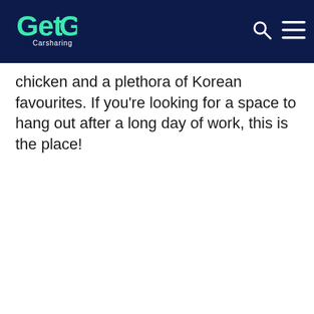GetGo Carsharing
chicken and a plethora of Korean favourites. If you’re looking for a space to hang out after a long day of work, this is the place!